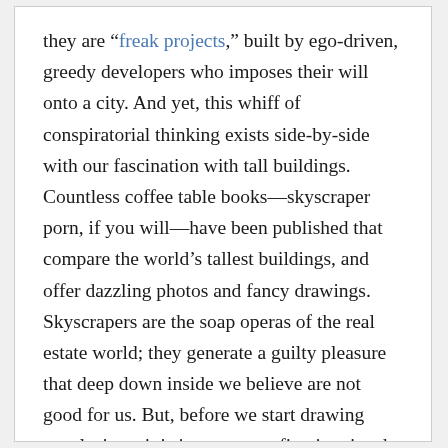they are “freak projects,” built by ego-driven, greedy developers who imposes their will onto a city. And yet, this whiff of conspiratorial thinking exists side-by-side with our fascination with tall buildings. Countless coffee table books—skyscraper porn, if you will—have been published that compare the world’s tallest buildings, and offer dazzling photos and fancy drawings. Skyscrapers are the soap operas of the real estate world; they generate a guilty pleasure that deep down inside we believe are not good for us. But, before we start drawing conclusions, it is important to first itemize the different elements of building height and focus on those that relate to the world’s tallest buildings.